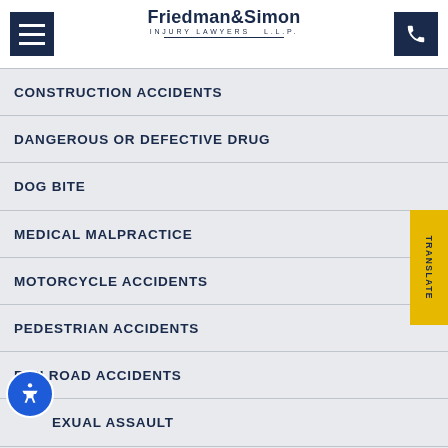[Figure (logo): Friedman & Simon Injury Lawyers L.L.P. logo with hamburger menu icon and phone button]
CONSTRUCTION ACCIDENTS
DANGEROUS OR DEFECTIVE DRUG
DOG BITE
MEDICAL MALPRACTICE
MOTORCYCLE ACCIDENTS
PEDESTRIAN ACCIDENTS
RAILROAD ACCIDENTS
SEXUAL ASSAULT
SLIP AND FALL ACCIDENTS